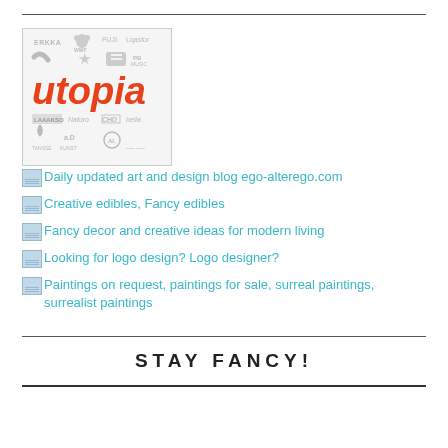[Figure (logo): Logo collection image featuring the Utopia logo in red/orange italic text surrounded by various small gray brand logos in a bordered grid]
Daily updated art and design blog ego-alterego.com
Creative edibles, Fancy edibles
Fancy decor and creative ideas for modern living
Looking for logo design? Logo designer?
Paintings on request, paintings for sale, surreal paintings, surrealist paintings
STAY FANCY!